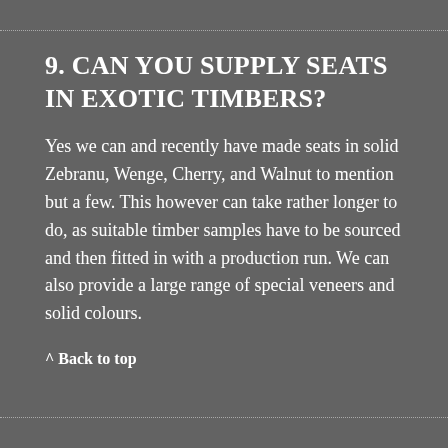9. CAN YOU SUPPLY SEATS IN EXOTIC TIMBERS?
Yes we can and recently have made seats in solid Zebranu, Wenge, Cherry, and Walnut to mention but a few. This however can take rather longer to do, as suitable timber samples have to be sourced and then fitted in with a production run. We can also provide a large range of special veneers and solid colours.
^ Back to top